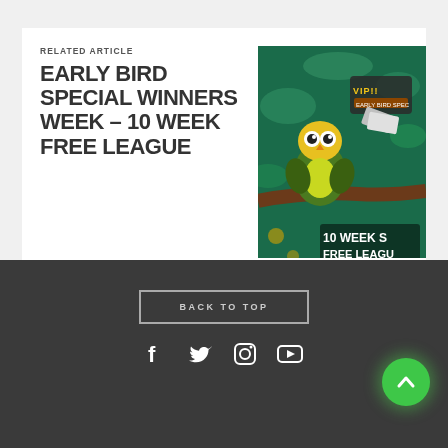RELATED ARTICLE
EARLY BIRD SPECIAL WINNERS WEEK – 10 WEEK FREE LEAGUE
[Figure (illustration): Cartoon graphic of an owl on a tree branch with 'Early Bird Special' and '10 Week Free League' text, VIP ticket imagery on teal background]
BACK TO TOP
[Figure (infographic): Social media icons: Facebook, Twitter, Instagram, YouTube in white on dark background]